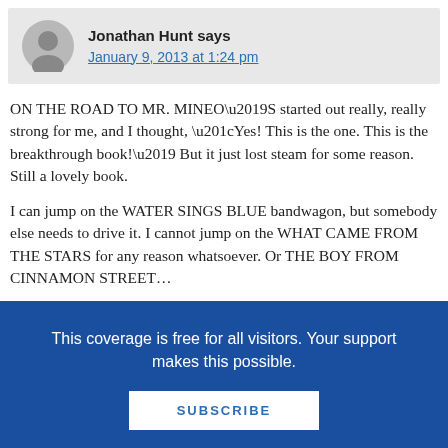Jonathan Hunt says
January 9, 2013 at 1:24 pm
ON THE ROAD TO MR. MINEO’S started out really, really strong for me, and I thought, “Yes! This is the one. This is the breakthrough book!’ But it just lost steam for some reason. Still a lovely book.
I can jump on the WATER SINGS BLUE bandwagon, but somebody else needs to drive it. I cannot jump on the WHAT CAME FROM THE STARS for any reason whatsoever. Or THE BOY FROM CINNAMON STREET…
This coverage is free for all visitors. Your support makes this possible.
SUBSCRIBE